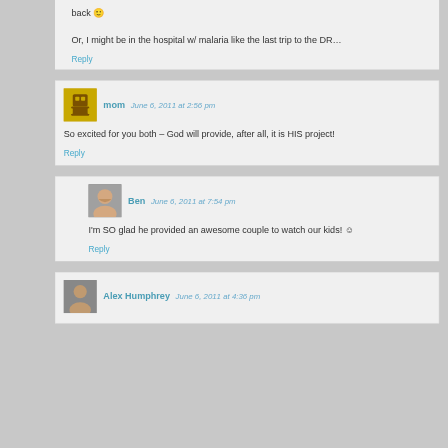back 🙂

Or, I might be in the hospital w/ malaria like the last trip to the DR…
Reply
mom  June 6, 2011 at 2:56 pm
So excited for you both – God will provide, after all, it is HIS project!
Reply
Ben  June 6, 2011 at 7:54 pm
I'm SO glad he provided an awesome couple to watch our kids! 🙂
Reply
Alex Humphrey  June 6, 2011 at 4:36 pm